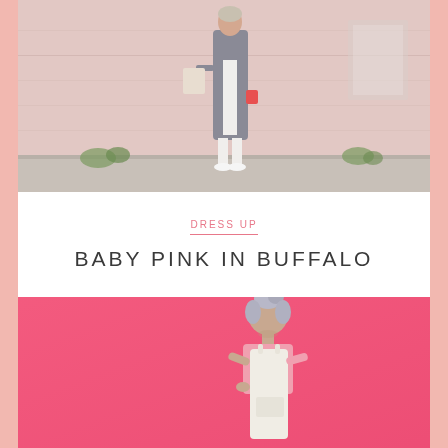[Figure (photo): Person wearing a long grey coat over a white outfit and white sneakers, walking in front of a pale pink painted brick wall. Natural light, outdoor street scene.]
DRESS UP
BABY PINK IN BUFFALO
[Figure (photo): Person with silver/grey hair in a bun, wearing a cream slip dress over a pink top, standing in front of a bright pink wall, looking downward.]